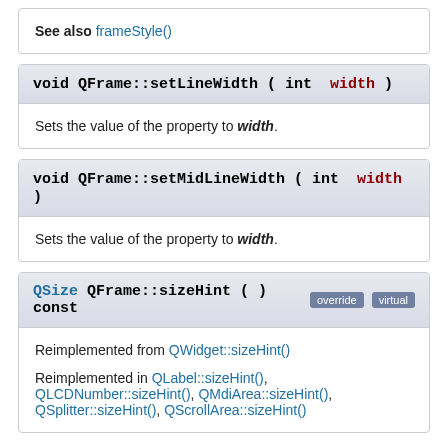See also frameStyle()
void QFrame::setLineWidth ( int width )
Sets the value of the property to width.
void QFrame::setMidLineWidth ( int width )
Sets the value of the property to width.
QSize QFrame::sizeHint ( ) const [override] [virtual]
Reimplemented from QWidget::sizeHint()
Reimplemented in QLabel::sizeHint(), QLCDNumber::sizeHint(), QMdiArea::sizeHint(), QSplitter::sizeHint(), QScrollArea::sizeHint()